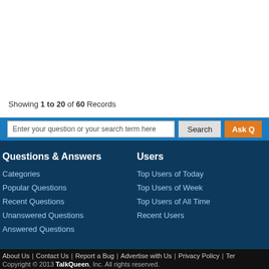Showing 1 to 20 of 60 Records
Questions & Answers
Categories
Popular Questions
Recent Questions
Unanswered Questions
Answered Questions
Users
Top Users of Today
Top Users of Week
Top Users of All Time
Recent Users
About Us | Contact Us | Report a Bug | Advertise with Us | Privacy Policy | Ter... Copyright © 2013 TalkQueen, Inc. All rights reserved.